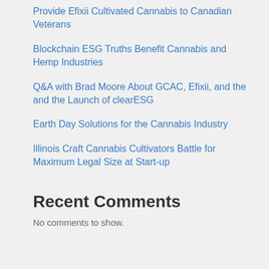Provide Efixii Cultivated Cannabis to Canadian Veterans
Blockchain ESG Truths Benefit Cannabis and Hemp Industries
Q&A with Brad Moore About GCAC, Efixii, and the and the Launch of clearESG
Earth Day Solutions for the Cannabis Industry
Illinois Craft Cannabis Cultivators Battle for Maximum Legal Size at Start-up
Recent Comments
No comments to show.